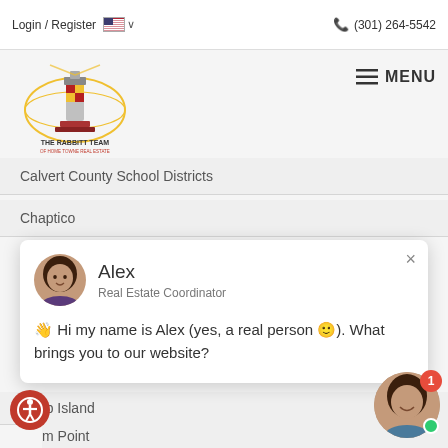Login / Register  (301) 264-5542
[Figure (logo): The Rabbitt Team of Home Towne Real Estate logo — lighthouse with Maryland flag imagery]
Calvert County School Districts
Chaptico
[Figure (screenshot): Chat popup with Alex, Real Estate Coordinator. Message: Hi my name is Alex (yes, a real person 🙂). What brings you to our website?]
Cobb Island
m Point
Dunkirk